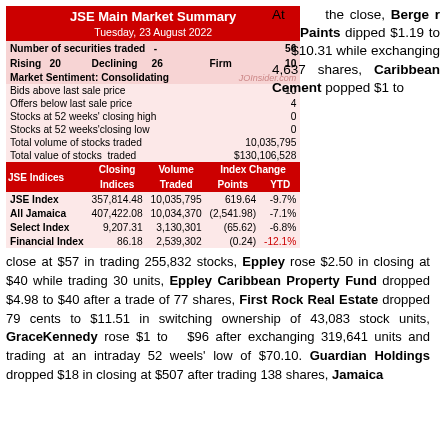| JSE Indices | Closing Indices | Volume Traded | Points | YTD |
| --- | --- | --- | --- | --- |
| Number of securities traded | - |  |  | 56 |
| Rising | 20 | Declining | 26 | Firm | 10 |
| Market Sentiment: Consolidating |  |  |  |  |
| Bids above last sale price |  |  |  | 10 |
| Offers below last sale price |  |  |  | 4 |
| Stocks at 52 weeks' closing high |  |  |  | 0 |
| Stocks at 52 weeks' closing low |  |  |  | 0 |
| Total volume of stocks traded |  |  | 10,035,795 |  |
| Total value of stocks traded |  |  | $130,106,528 |  |
| JSE Index | 357,814.48 | 10,035,795 | 619.64 | -9.7% |
| All Jamaica | 407,422.08 | 10,034,370 | (2,541.98) | -7.1% |
| Select Index | 9,207.31 | 3,130,301 | (65.62) | -6.8% |
| Financial Index | 86.18 | 2,539,302 | (0.24) | -12.1% |
At the close, Berger Paints dipped $1.19 to $10.31 while exchanging 4,637 shares, Caribbean Cement popped $1 to close at $57 in trading 255,832 stocks, Eppley rose $2.50 in closing at $40 while trading 30 units, Eppley Caribbean Property Fund dropped $4.98 to $40 after a trade of 77 shares, First Rock Real Estate dropped 79 cents to $11.51 in switching ownership of 43,083 stock units, GraceKennedy rose $1 to $96 after exchanging 319,641 units and trading at an intraday 52 weels' low of $70.10. Guardian Holdings dropped $18 in closing at $507 after trading 138 shares, Jamaica